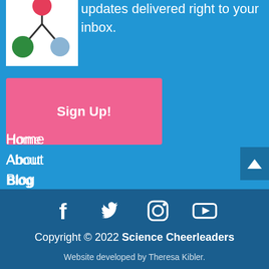[Figure (logo): Science/chemistry molecule logo with red, green, and blue spheres connected by lines on white background]
updates delivered right to your inbox.
Sign Up!
Home
About
Blog
Shop
Contact
[Figure (infographic): Social media icons: Facebook, Twitter, Instagram, YouTube]
Copyright © 2022 Science Cheerleaders
Website developed by Theresa Kibler.